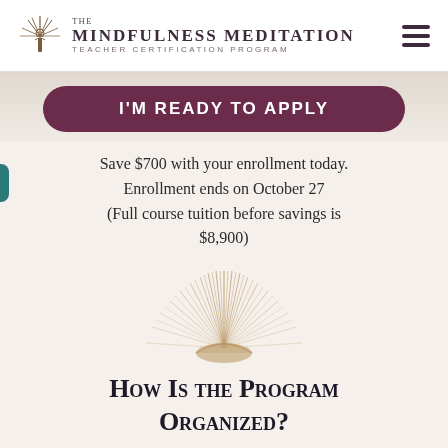THE MINDFULNESS MEDITATION TEACHER CERTIFICATION PROGRAM
I'M READY TO APPLY
Save $700 with your enrollment today. Enrollment ends on October 27 (Full course tuition before savings is $8,900)
[Figure (illustration): Sunburst / rising sun logo illustration with golden radiating lines]
How Is the Program Organized?